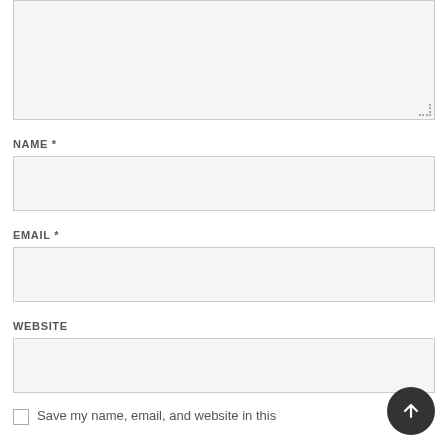[Figure (screenshot): Large textarea input field with light gray background and dotted resize handle at bottom-right]
NAME *
[Figure (screenshot): Name text input field with light gray background]
EMAIL *
[Figure (screenshot): Email text input field with light gray background]
WEBSITE
[Figure (screenshot): Website text input field with light gray background]
Save my name, email, and website in this
[Figure (screenshot): Circular dark button with upward arrow icon (scroll to top or submit)]